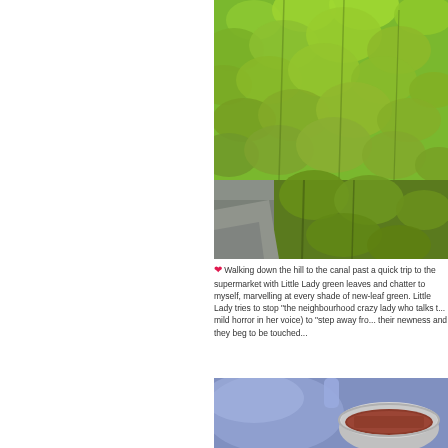[Figure (photo): Close-up photograph of a hedge or wall covered in bright green new leaves, with a path/pavement visible at the bottom left.]
❤ Walking down the hill to the canal past a quick trip to the supermarket with Little Lady green leaves and chatter to myself, marvelling at every shade of new-leaf green. Little Lady tries to stop "the neighbourhood crazy lady who talks t... mild horror in her voice) to "step away fro... their newness and they beg to be touched...
[Figure (photo): Photograph showing blue fabric or cloth and a bowl or container with what appears to be seeds or spices.]